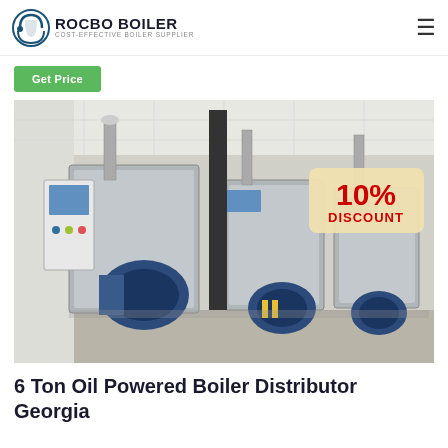ROCBO BOILER – COST-EFFECTIVE BOILER SUPPLIER
Get Price
[Figure (photo): Three industrial oil-powered boiler units installed in a clean white room. Each unit consists of a large grey rectangular cabinet with a blue burner assembly mounted at the front. Control panels are visible on the left unit. Pipes and conduits connect the units to the ceiling. A '10% DISCOUNT' badge is overlaid in the upper-right area of the photo.]
6 Ton Oil Powered Boiler Distributor Georgia